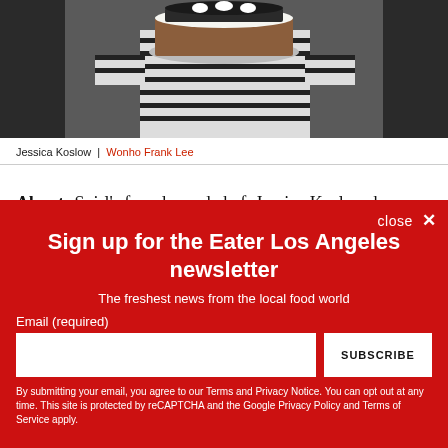[Figure (photo): Person in striped shirt holding a layered cake on a plate]
Jessica Koslow  |  Wonho Frank Lee
About: Sqirl's founder and chef, Jessica Koslow, has captured the hearts of Los Angeles and earning a national audience by...
close ✕
Sign up for the Eater Los Angeles newsletter
The freshest news from the local food world
Email (required)
By submitting your email, you agree to our Terms and Privacy Notice. You can opt out at any time. This site is protected by reCAPTCHA and the Google Privacy Policy and Terms of Service apply.